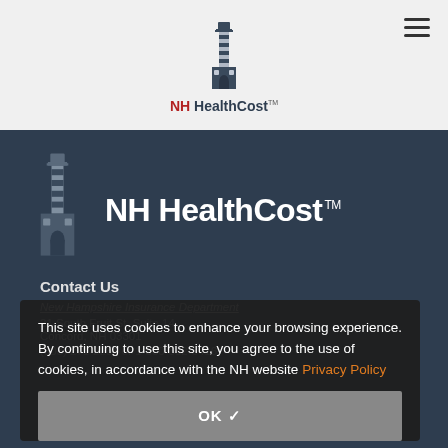[Figure (logo): NH HealthCost logo with lighthouse icon and red/dark text in header bar]
[Figure (logo): NH HealthCost large white logo with lighthouse on dark blue-gray background]
Contact Us
New Hampshire Insurance Department
21 South Fruit St, Suite 14
Concord, NH 03301
(603) 271-2261 or 1-800-852-3416
This site uses cookies to enhance your browsing experience. By continuing to use this site, you agree to the use of cookies, in accordance with the NH website Privacy Policy
OK ✓